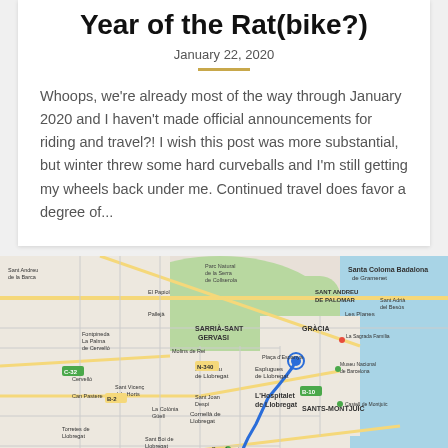Year of the Rat(bike?)
January 22, 2020
Whoops, we're already most of the way through January 2020 and I haven't made official announcements for riding and travel?! I wish this post was more substantial, but winter threw some hard curveballs and I'm still getting my wheels back under me. Continued travel does favor a degree of...
[Figure (map): Google Maps screenshot showing the Barcelona metropolitan area including neighborhoods such as Sarrià-Sant Gervasi, Gràcia, Sant Andreu de Palomar, Sants-Montjuïc, L'Hospitalet de Llobregat, and surrounding municipalities. A blue route line is drawn through the southern part of the city.]